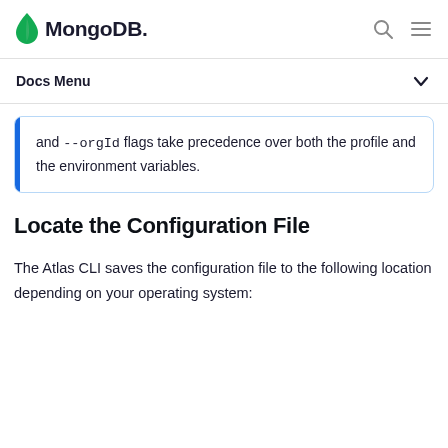MongoDB
Docs Menu
and --orgId flags take precedence over both the profile and the environment variables.
Locate the Configuration File
The Atlas CLI saves the configuration file to the following location depending on your operating system: